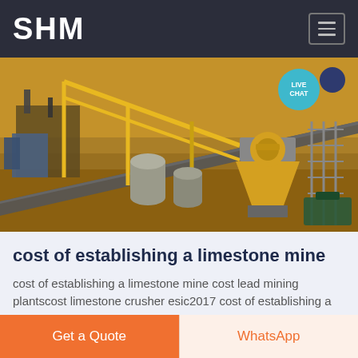SHM
[Figure (photo): Mining/crushing plant equipment with conveyor belts and yellow cone crushers in an open-pit mine setting. A 'LIVE CHAT' badge appears in the top-right corner of the image.]
cost of establishing a limestone mine
cost of establishing a limestone mine cost lead mining plantscost limestone crusher esic2017 cost of establishing a limestone mine 150